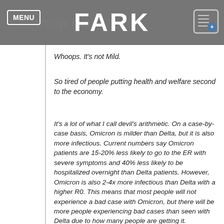MENU | FARK
Whoops. It's not Mild.
So tired of people putting health and welfare second to the economy.
It's a lot of what I call devil's arithmetic. On a case-by-case basis, Omicron is milder than Delta, but it is also more infectious. Current numbers say Omicron patients are 15-20% less likely to go to the ER with severe symptoms and 40% less likely to be hospitalized overnight than Delta patients. However, Omicron is also 2-4x more infectious than Delta with a higher R0. This means that most people will not experience a bad case with Omicron, but there will be more people experiencing bad cases than seen with Delta due to how many people are getting it.
Citation needed
The original "it's mild" came from one doctor and his